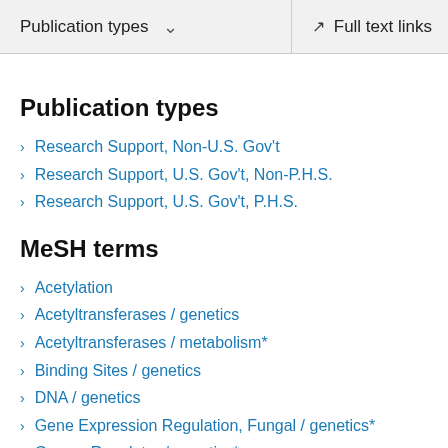Publication types  ∨   Full text links
Publication types
Research Support, Non-U.S. Gov't
Research Support, U.S. Gov't, Non-P.H.S.
Research Support, U.S. Gov't, P.H.S.
MeSH terms
Acetylation
Acetyltransferases / genetics
Acetyltransferases / metabolism*
Binding Sites / genetics
DNA / genetics
Gene Expression Regulation, Fungal / genetics*
Genes, Regulator / genetics*
Histone Acetyltransferases